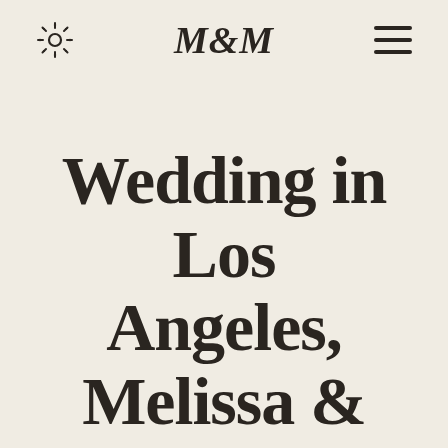M&M
Wedding in Los Angeles, Melissa &